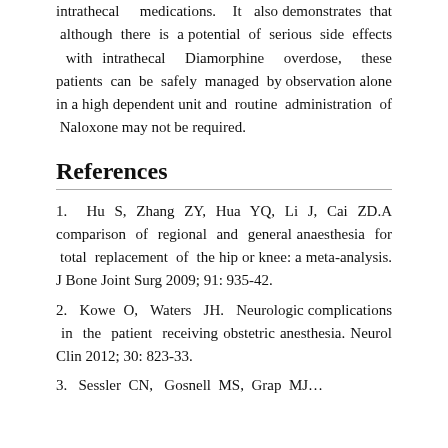intrathecal medications. It also demonstrates that although there is a potential of serious side effects with intrathecal Diamorphine overdose, these patients can be safely managed by observation alone in a high dependent unit and routine administration of Naloxone may not be required.
References
1. Hu S, Zhang ZY, Hua YQ, Li J, Cai ZD.A comparison of regional and general anaesthesia for total replacement of the hip or knee: a meta-analysis. J Bone Joint Surg 2009; 91: 935-42.
2. Kowe O, Waters JH. Neurologic complications in the patient receiving obstetric anesthesia. Neurol Clin 2012; 30: 823-33.
3. Sessler CN, Gosnell MS, Grap MJ…